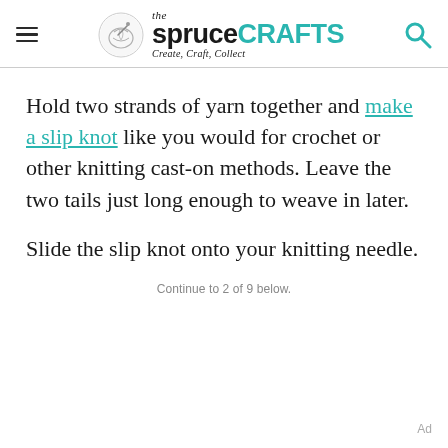the spruce CRAFTS — Create, Craft, Collect
Hold two strands of yarn together and make a slip knot like you would for crochet or other knitting cast-on methods. Leave the two tails just long enough to weave in later.
Slide the slip knot onto your knitting needle.
Continue to 2 of 9 below.
Ad